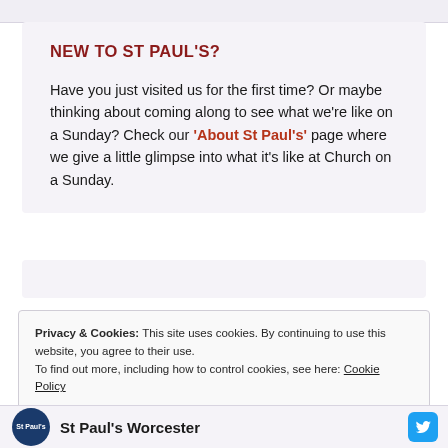NEW TO ST PAUL'S?
Have you just visited us for the first time? Or maybe thinking about coming along to see what we're like on a Sunday? Check our 'About St Paul's' page where we give a little glimpse into what it's like at Church on a Sunday.
Privacy & Cookies: This site uses cookies. By continuing to use this website, you agree to their use. To find out more, including how to control cookies, see here: Cookie Policy
Close and accept
St Paul's Worcester